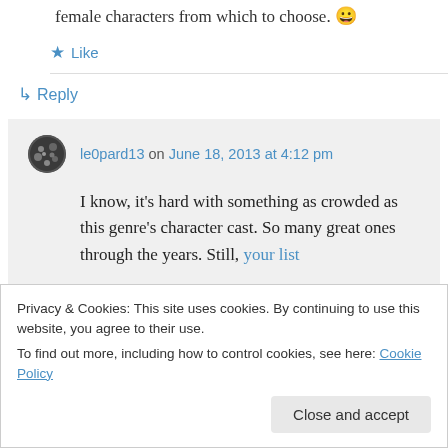female characters from which to choose. 😀
★ Like
↳ Reply
le0pard13 on June 18, 2013 at 4:12 pm
I know, it's hard with something as crowded as this genre's character cast. So many great ones through the years. Still, your list
Privacy & Cookies: This site uses cookies. By continuing to use this website, you agree to their use. To find out more, including how to control cookies, see here: Cookie Policy
Close and accept